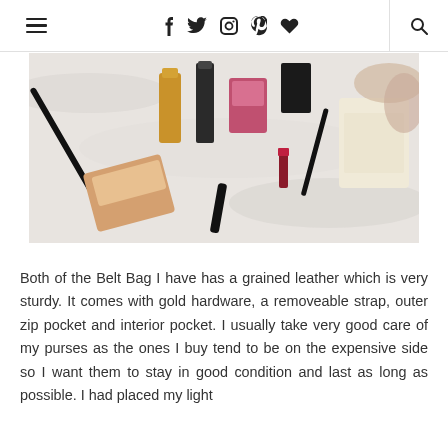≡  f  𝕏  ◎  ⊕  ♥  🔍
[Figure (photo): Overhead flat-lay photo of various makeup and cosmetic products including lipsticks, a blush palette, mascara, and a Jo Malone box scattered on a white marble surface.]
Both of the Belt Bag I have has a grained leather which is very sturdy. It comes with gold hardware, a removeable strap, outer zip pocket and interior pocket. I usually take very good care of my purses as the ones I buy tend to be on the expensive side so I want them to stay in good condition and last as long as possible. I had placed my light